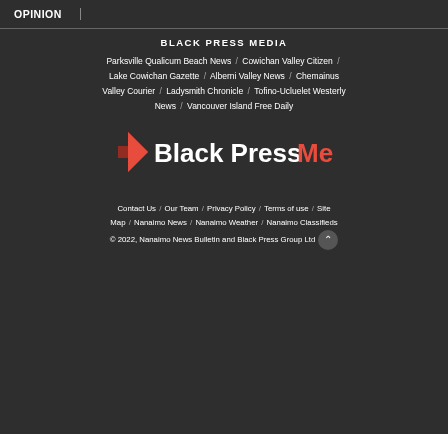OPINION
BLACK PRESS MEDIA
Parksville Qualicum Beach News / Cowichan Valley Citizen / Lake Cowichan Gazette / Alberni Valley News / Chemainus Valley Courier / Ladysmith Chronicle / Tofino-Ucluelet Westerly News / Vancouver Island Free Daily
[Figure (logo): Black Press Media logo with red arrow icon and white/red text]
Contact Us / Our Team / Privacy Policy / Terms of use / Site Map / Nanaimo News / Nanaimo Weather / Nanaimo Classifieds
© 2022, Nanaimo News Bulletin and Black Press Group Ltd.